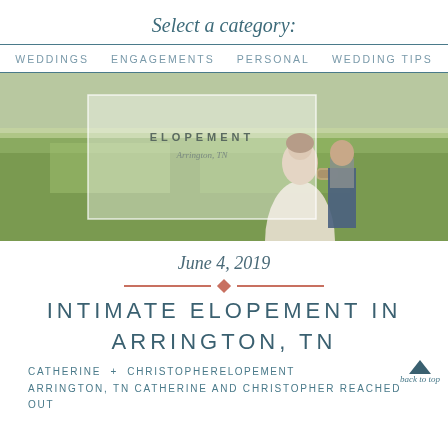Select a category:
WEDDINGS   ENGAGEMENTS   PERSONAL   WEDDING TIPS
[Figure (photo): Wedding couple embracing outdoors on green grass, with a semi-transparent white overlay box in center showing 'ELOPEMENT' and 'Arrington, TN' text]
June 4, 2019
INTIMATE ELOPEMENT IN ARRINGTON, TN
CATHERINE + CHRISTOPHER ELOPEMENT ARRINGTON, TN Catherine and Christopher reached out